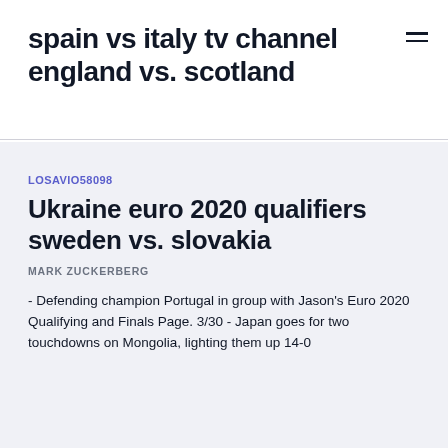spain vs italy tv channel england vs. scotland
LOSAVIO58098
Ukraine euro 2020 qualifiers sweden vs. slovakia
MARK ZUCKERBERG
- Defending champion Portugal in group with Jason's Euro 2020 Qualifying and Finals Page. 3/30 - Japan goes for two touchdowns on Mongolia, lighting them up 14-0